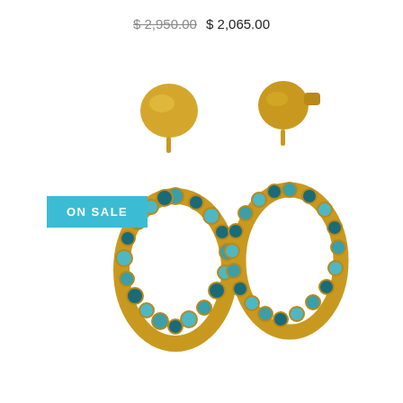$ 2,950.00  $ 2,065.00
[Figure (photo): Two gold drop earrings with oval hoop pendants set with alternating blue opal and aquamarine stones in gold bezel settings, hanging from domed gold stud tops]
ON SALE